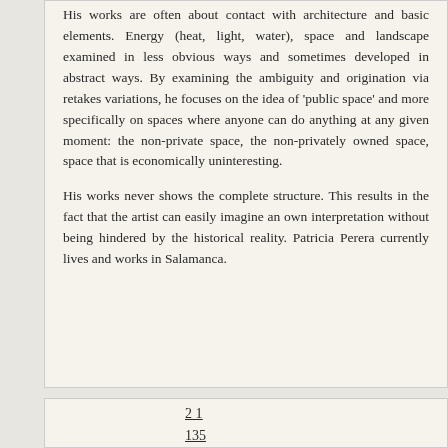His works are often about contact with architecture and basic elements. Energy (heat, light, water), space and landscape examined in less obvious ways and sometimes developed in abstract ways. By examining the ambiguity and origination via retakes variations, he focuses on the idea of 'public space' and more specifically on spaces where anyone can do anything at any given moment: the non-private space, the non-privately owned space, space that is economically uninteresting.
His works never shows the complete structure. This results in the fact that the artist can easily imagine an own interpretation without being hindered by the historical reality. Patricia Perera currently lives and works in Salamanca.
2 1
135
Asdfghjkl
Christina